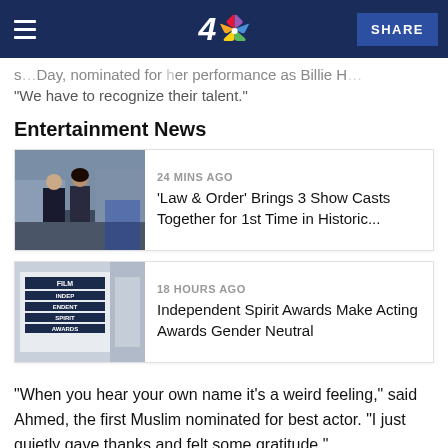NBC 4 | SHARE
...Day, nominated for her performance as Billie H...  We have to recognize their talent.
Entertainment News
[Figure (photo): Two people in dark clothing standing outdoors, police scene]
24 MINS AGO
'Law & Order' Brings 3 Show Casts Together for 1st Time in Historic...
[Figure (photo): Film Independent Spirit Awards sign/banner]
18 HOURS AGO
Independent Spirit Awards Make Acting Awards Gender Neutral
“When you hear your own name it’s a weird feeling,” said Ahmed, the first Muslim nominated for best actor. “I just quietly gave thanks and felt some gratitude.”
Davis, who won for her performance in 2016’s “Fences,”